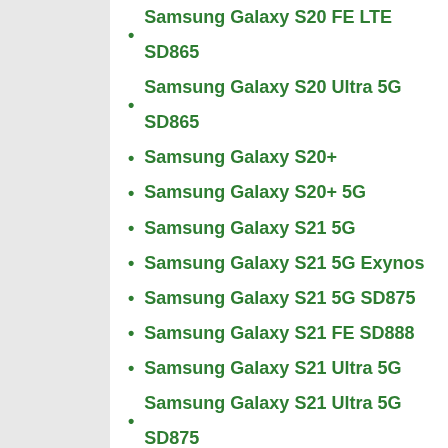Samsung Galaxy S20 FE LTE SD865
Samsung Galaxy S20 Ultra 5G SD865
Samsung Galaxy S20+
Samsung Galaxy S20+ 5G
Samsung Galaxy S21 5G
Samsung Galaxy S21 5G Exynos
Samsung Galaxy S21 5G SD875
Samsung Galaxy S21 FE SD888
Samsung Galaxy S21 Ultra 5G
Samsung Galaxy S21 Ultra 5G SD875
Samsung Galaxy S21+ 5G SD888
Samsung Galaxy S22
Samsung Galaxy S22 Ultra
Samsung Galaxy S22+
Samsung Galaxy Tab A7
Samsung Galaxy Tab S7 FE 5G
Samsung Galaxy Tab S8 Ultra 5G
Samsung Galaxy Tab S8+ 5G
Samsung Galaxy W21 5G
Samsung Galaxy Wide5
Samsung Galaxy XCover 5
Samsung Galaxy XCover Pro